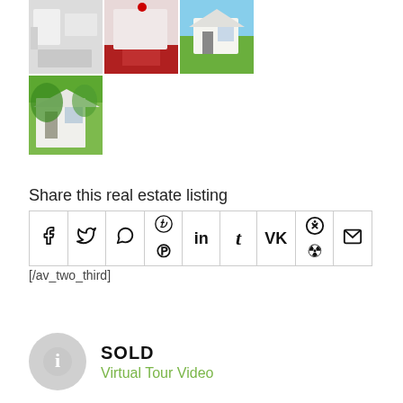[Figure (photo): Row of three real estate property photos: bathroom interior, bedroom with red decor, exterior of white house]
[Figure (photo): Single property photo: exterior of white colonial house with large trees]
Share this real estate listing
[Figure (other): Social sharing icon buttons: Facebook, Twitter, WhatsApp, Pinterest, LinkedIn, Tumblr, VK, Reddit, Email]
[/av_two_third]
SOLD
Virtual Tour Video